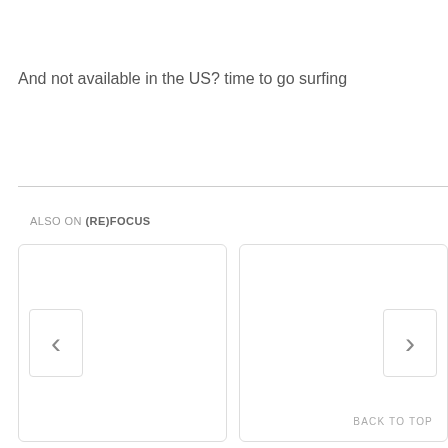And not available in the US? time to go surfing
ALSO ON (RE)FOCUS
[Figure (screenshot): Two card panels with left and right navigation chevron buttons, part of a 'Also On (RE)FOCUS' carousel section. Left card has a left-facing chevron button, right card has a right-facing chevron button and a 'BACK TO TOP' label.]